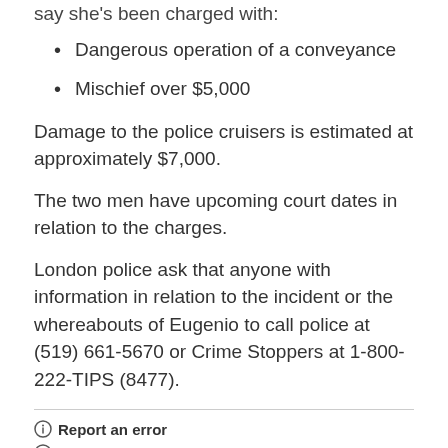say she's been charged with:
Dangerous operation of a conveyance
Mischief over $5,000
Damage to the police cruisers is estimated at approximately $7,000.
The two men have upcoming court dates in relation to the charges.
London police ask that anyone with information in relation to the incident or the whereabouts of Eugenio to call police at (519) 661-5670 or Crime Stoppers at 1-800-222-TIPS (8477).
Report an error
Editorial standards & policies